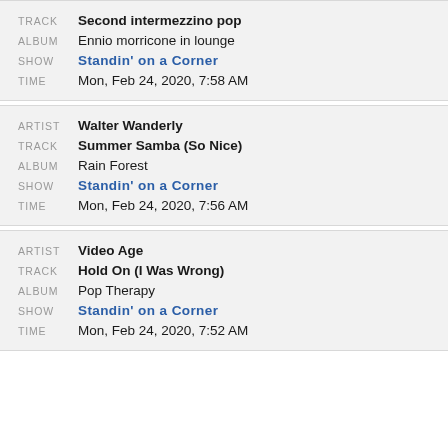TRACK: Second intermezzino pop | ALBUM: Ennio morricone in lounge | SHOW: Standin' on a Corner | TIME: Mon, Feb 24, 2020, 7:58 AM
ARTIST: Walter Wanderly | TRACK: Summer Samba (So Nice) | ALBUM: Rain Forest | SHOW: Standin' on a Corner | TIME: Mon, Feb 24, 2020, 7:56 AM
ARTIST: Video Age | TRACK: Hold On (I Was Wrong) | ALBUM: Pop Therapy | SHOW: Standin' on a Corner | TIME: Mon, Feb 24, 2020, 7:52 AM